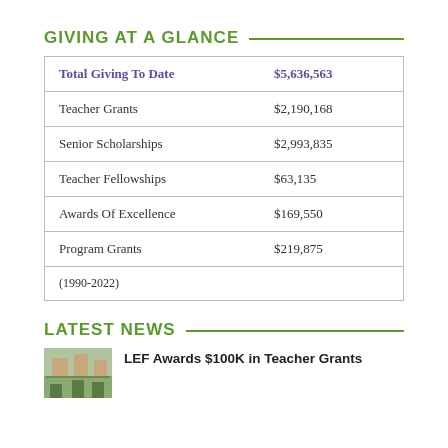GIVING AT A GLANCE
| Category | Amount |
| --- | --- |
| Total Giving To Date | $5,636,563 |
| Teacher Grants | $2,190,168 |
| Senior Scholarships | $2,993,835 |
| Teacher Fellowships | $63,135 |
| Awards Of Excellence | $169,550 |
| Program Grants | $219,875 |
| (1990-2022) |  |
LATEST NEWS
[Figure (photo): Small thumbnail photo of people in a classroom or educational setting]
LEF Awards $100K in Teacher Grants